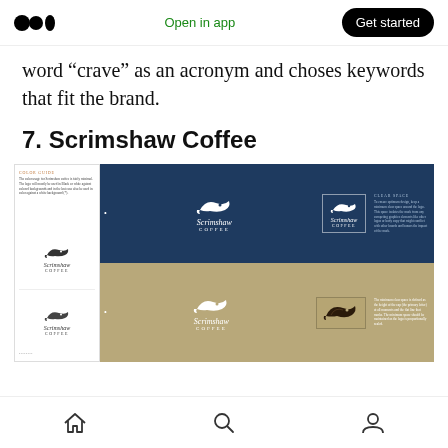Open in app | Get started
word “crave” as an acronym and choses keywords that fit the brand.
7. Scrimshaw Coffee
[Figure (illustration): Brand style guide for Scrimshaw Coffee showing logo usage on white, navy, and tan/gold backgrounds. The logo features a whale above the script text 'Scrimshaw Coffee'. Left panel shows color guide and logo on white background. Right panels show logo variations on navy blue and tan/khaki backgrounds with clear space guidelines and text.]
Home, Search, Profile navigation icons